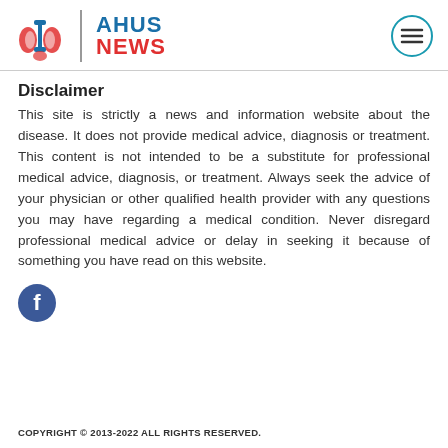[Figure (logo): AHUS News logo with kidney icon, blue vertical divider, AHUS in blue and NEWS in red bold text, hamburger menu circle icon top right]
Disclaimer
This site is strictly a news and information website about the disease. It does not provide medical advice, diagnosis or treatment. This content is not intended to be a substitute for professional medical advice, diagnosis, or treatment. Always seek the advice of your physician or other qualified health provider with any questions you may have regarding a medical condition. Never disregard professional medical advice or delay in seeking it because of something you have read on this website.
[Figure (logo): Facebook social media circle icon in blue with white 'f' letter]
COPYRIGHT © 2013-2022 ALL RIGHTS RESERVED.